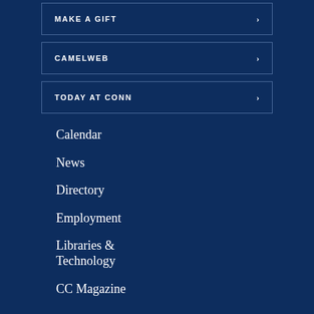MAKE A GIFT
CAMELWEB
TODAY AT CONN
Calendar
News
Directory
Employment
Libraries & Technology
CC Magazine